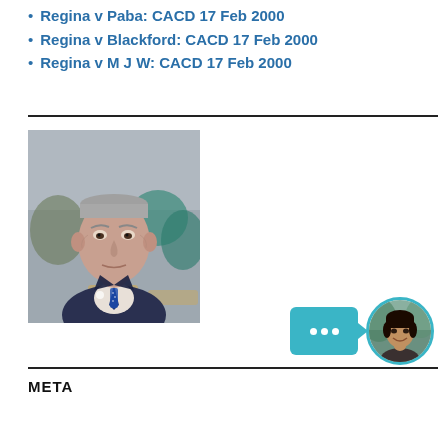Regina v Paba: CACD 17 Feb 2000
Regina v Blackford: CACD 17 Feb 2000
Regina v M J W: CACD 17 Feb 2000
[Figure (photo): Portrait photo of an older man with short grey hair wearing a dark suit and blue tie, seated at what appears to be an outdoor event]
[Figure (infographic): A teal chat bubble with three white dots and an arrow pointing to a circular avatar of a smiling woman]
META